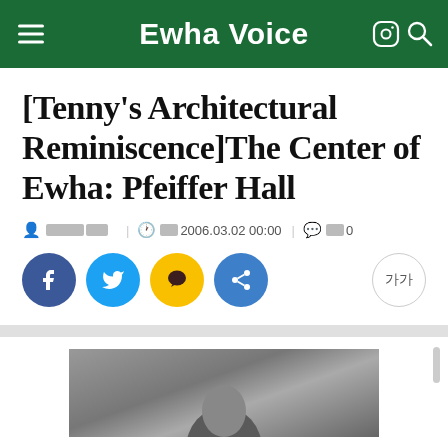Ewha Voice
[Tenny's Architectural Reminiscence]The Center of Ewha: Pfeiffer Hall
████ | ██2006.03.02 00:00 | ██0
[Figure (other): Social sharing buttons: Facebook, Twitter, Kakao Story, Share; font size button (가가)]
[Figure (photo): Black and white photograph, partially visible at bottom of page]